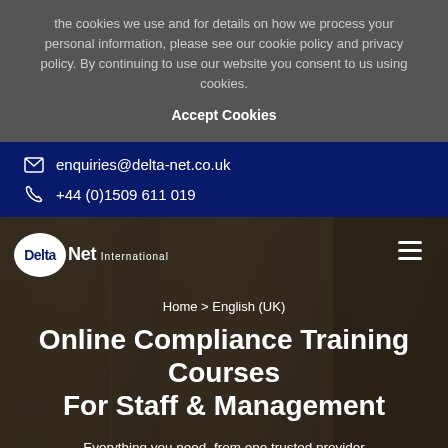the cookies we use and for details on how we process your personal information, please see our cookie policy and privacy policy. By continuing to use our website you consent to us using cookies.
Accept Cookies
enquiries@delta-net.co.uk
+44 (0)1509 611 019
[Figure (screenshot): DeltaNet International website hero section with logo, hamburger menu, breadcrumb navigation, and page title on a dark photo background of people in a training room.]
Home > English (UK)
Online Compliance Training Courses For Staff & Management
Everything you need, from one trusted provider